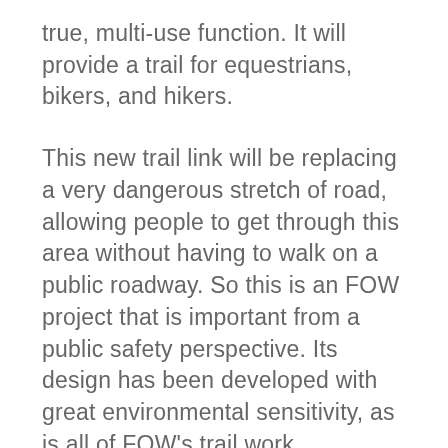true, multi-use function. It will provide a trail for equestrians, bikers, and hikers.
This new trail link will be replacing a very dangerous stretch of road, allowing people to get through this area without having to walk on a public roadway. So this is an FOW project that is important from a public safety perspective. Its design has been developed with great environmental sensitivity, as is all of FOW's trail work.
National Public Lands Day is a wonderful opportunity to come out and take part in building a trail asset all park users will enjoy for years to